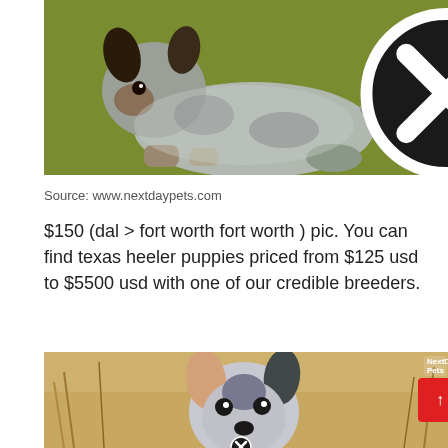[Figure (photo): A small Australian Cattle Dog (heeler) puppy lying on a green background, viewed from the side. A black circle with an X (close button) is visible at the top center of the image.]
Source: www.nextdaypets.com
$150 (dal > fort worth fort worth ) pic. You can find texas heeler puppies priced from $125 usd to $5500 usd with one of our credible breeders.
[Figure (photo): A small Australian Cattle Dog (heeler) puppy standing in a field of dry grass, facing the camera. A NextDayPets logo watermark is visible in the top right. A red scroll-to-top button and a close (X) button are overlaid on the image.]